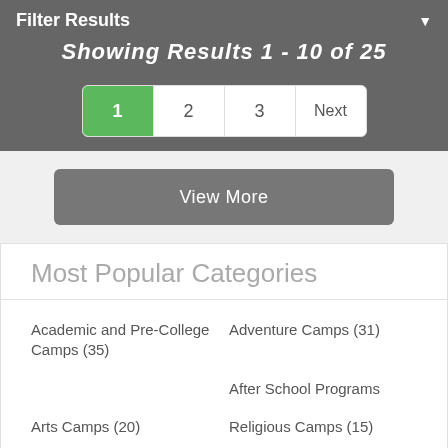Filter Results
Showing Results 1 - 10 of 25
1  2  3  Next
View More
Most Popular Categories
Academic and Pre-College Camps (35)
Adventure Camps (31)
After School Programs
Arts Camps (20)
Religious Camps (15)
Special Needs Camps (25)
Special Programs (9)